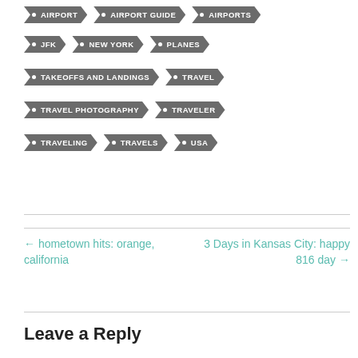AIRPORT
AIRPORT GUIDE
AIRPORTS
JFK
NEW YORK
PLANES
TAKEOFFS AND LANDINGS
TRAVEL
TRAVEL PHOTOGRAPHY
TRAVELER
TRAVELING
TRAVELS
USA
← hometown hits: orange, california
3 Days in Kansas City: happy 816 day →
Leave a Reply